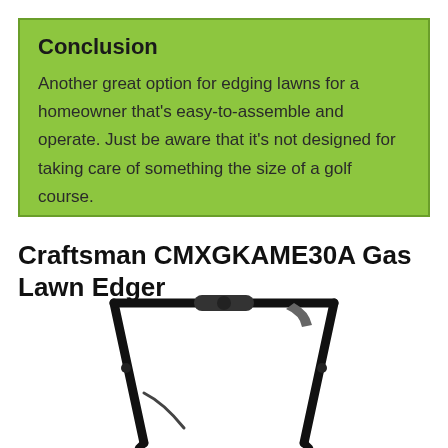Conclusion
Another great option for edging lawns for a homeowner that's easy-to-assemble and operate. Just be aware that it's not designed for taking care of something the size of a golf course.
Craftsman CMXGKAME30A Gas Lawn Edger
[Figure (photo): Photo of the Craftsman CMXGKAME30A gas lawn edger handle and upper frame assembly, showing black metal handlebar with grip and mechanical lever/trigger, against a white background.]